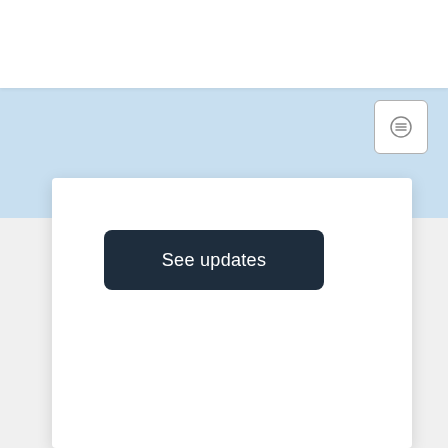[Figure (logo): AFSPA logo with circular icon and bold text, with blue underline]
[Figure (infographic): Navigation icons: phone, tablet, desktop monitor, and magnifying glass search icon in blue circles]
[Figure (screenshot): Light blue banner section below header with hamburger/menu icon button on right]
See updates